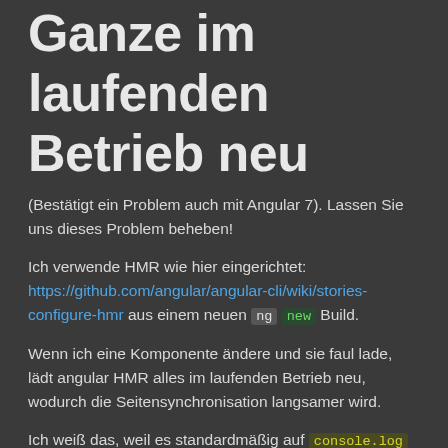Ganze im laufenden Betrieb neu
(Bestätigt ein Problem auch mit Angular 7). Lassen Sie uns dieses Problem beheben!
Ich verwende HMR wie hier eingerichtet: https://github.com/angular/angular-cli/wiki/stories-configure-hmr aus einem neuen ng new Build.
Wenn ich eine Komponente ändere und sie faul lade, lädt angular HMR alles im laufenden Betrieb neu, wodurch die Seitensynchronisation langsamer wird.
Ich weiß das, weil es standardmäßig auf console.log